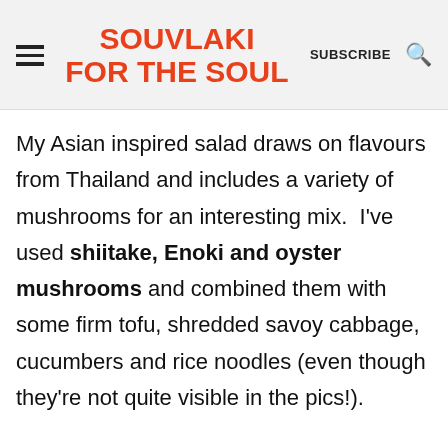SOUVLAKI FOR THE SOUL
My Asian inspired salad draws on flavours from Thailand and includes a variety of mushrooms for an interesting mix.  I've used shiitake, Enoki and oyster mushrooms and combined them with some firm tofu, shredded savoy cabbage, cucumbers and rice noodles (even though they're not quite visible in the pics!).